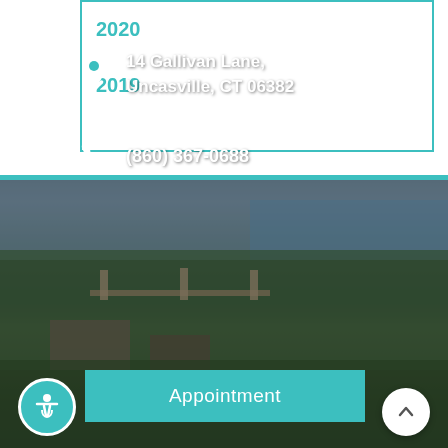2020
2019
[Figure (photo): Aerial cityscape photo showing a city with a river, bridge, trees, and harbor in the background, used as a contact section background]
14 Gallivan Lane, Uncasville, CT 06382
(860) 367-0688
Appointment